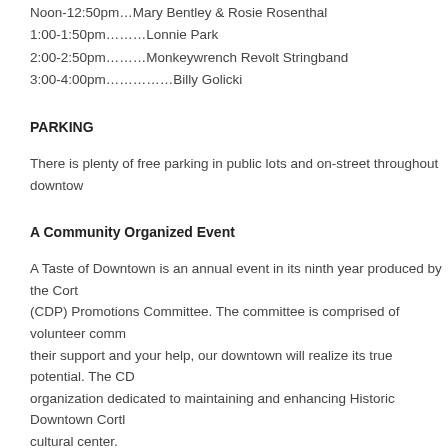Noon-12:50pm…Mary Bentley & Rosie Rosenthal
1:00-1:50pm………Lonnie Park
2:00-2:50pm………Monkeywrench Revolt Stringband
3:00-4:00pm……………Billy Golicki
PARKING
There is plenty of free parking in public lots and on-street throughout downtow…
A Community Organized Event
A Taste of Downtown is an annual event in its ninth year produced by the Cort… (CDP) Promotions Committee. The committee is comprised of volunteer comm… their support and your help, our downtown will realize its true potential. The CD… organization dedicated to maintaining and enhancing Historic Downtown Cortl… cultural center.
For updates on entertainers and sales, and to confirm attendance at this year'…